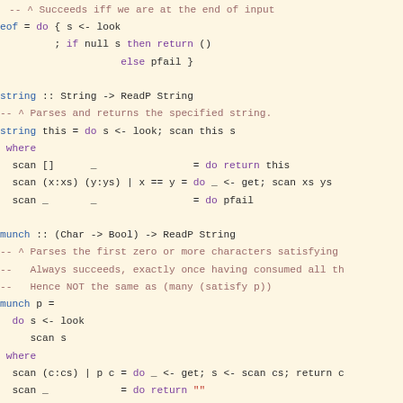-- ^ Succeeds iff we are at the end of input
eof = do { s <- look
         ; if null s then return ()
                    else pfail }
string :: String -> ReadP String
-- ^ Parses and returns the specified string.
string this = do s <- look; scan this s
 where
  scan []      _                = do return this
  scan (x:xs) (y:ys) | x == y = do _ <- get; scan xs ys
  scan _       _                = do pfail
munch :: (Char -> Bool) -> ReadP String
-- ^ Parses the first zero or more characters satisfying
--   Always succeeds, exactly once having consumed all th
--   Hence NOT the same as (many (satisfy p))
munch p =
  do s <- look
     scan s
 where
  scan (c:cs) | p c = do _ <- get; s <- scan cs; return c
  scan _            = do return ""
munch1 :: (Char -> Bool) -> ReadP String
-- ^ Parses the first one or more characters satisfying t
--   Fails if none, else succeeds exactly once having con
--   Hence NOT the same as (many1 (satisfy p))
munch1 p =
  do c <- get